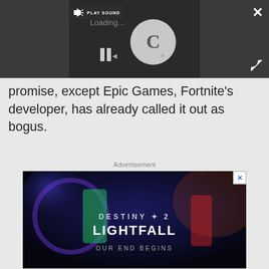[Figure (screenshot): Video player with dark background showing a loading spinner (circular C shape), pause button, and PLAY SOUND button]
promise, except Epic Games, Fortnite's developer, has already called it out as bogus.
Advertisement
[Figure (photo): Destiny 2 Lightfall advertisement banner with sci-fi characters and text 'DESTINY 2 LIGHTFALL OUR END BEGINS']